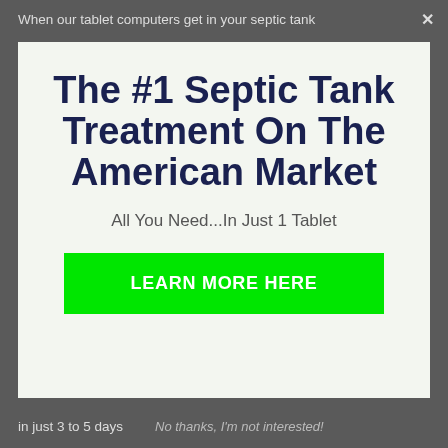When our tablet computers get in your septic tank ×
The #1 Septic Tank Treatment On The American Market
All You Need...In Just 1 Tablet
LEARN MORE HERE
in just 3 to 5 days    No thanks, I'm not interested!